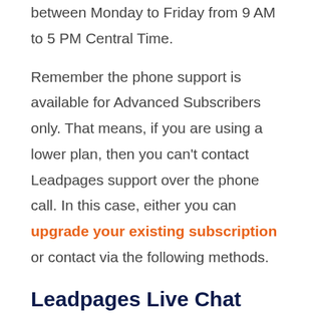between Monday to Friday from 9 AM to 5 PM Central Time.
Remember the phone support is available for Advanced Subscribers only. That means, if you are using a lower plan, then you can't contact Leadpages support over the phone call. In this case, either you can upgrade your existing subscription or contact via the following methods.
Leadpages Live Chat Support
Another great Leadpages contact support is via live chat option available Monday to Friday from 9 AM